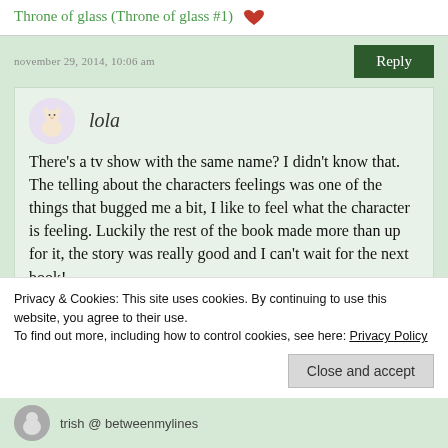Throne of glass (Throne of glass #1) 🦋
november 29, 2014, 10:06 am
Reply
lola
There's a tv show with the same name? I didn't know that. The telling about the characters feelings was one of the things that bugged me a bit, I like to feel what the character is feeling. Luckily the rest of the book made more than up for it, the story was really good and I can't wait for the next book!
Privacy & Cookies: This site uses cookies. By continuing to use this website, you agree to their use. To find out more, including how to control cookies, see here: Privacy Policy
Close and accept